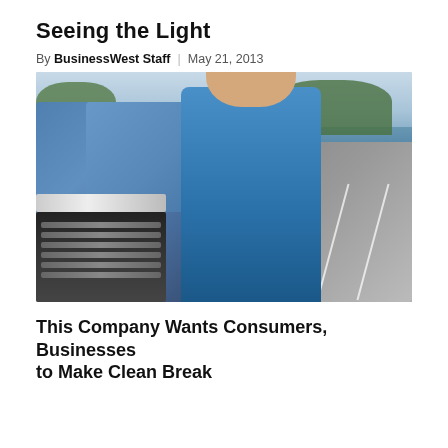Seeing the Light
By BusinessWest Staff | May 21, 2013
[Figure (photo): A man wearing a hat and glasses standing in front of a blue truck in a parking lot, with trees and sky in the background.]
This Company Wants Consumers, Businesses to Make Clean Break